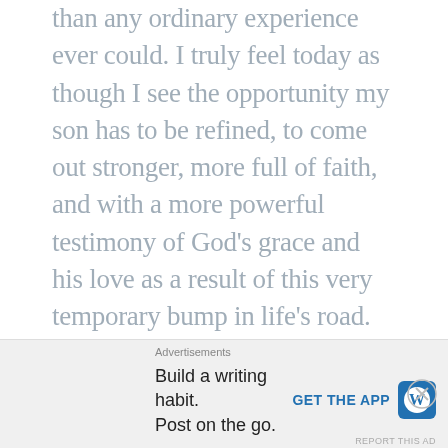than any ordinary experience ever could. I truly feel today as though I see the opportunity my son has to be refined, to come out stronger, more full of faith, and with a more powerful testimony of God's grace and his love as a result of this very temporary bump in life's road.

So, with that, he will move forward, supported by the love and acceptance of so many of you. He will continue to hold his head high, in the knowledge that our Heavenly Father loves him, and that Jesus
[Figure (other): Advertisement banner for WordPress app: 'Build a writing habit. Post on the go.' with 'GET THE APP' button and WordPress logo icon. Includes close (X) button and 'REPORT THIS AD' link.]